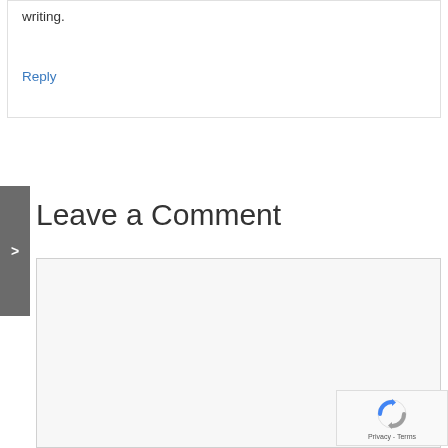writing.
Reply
Leave a Comment
[Figure (other): Empty comment textarea input box with light gray background and border]
[Figure (other): reCAPTCHA badge with logo and Privacy - Terms text]